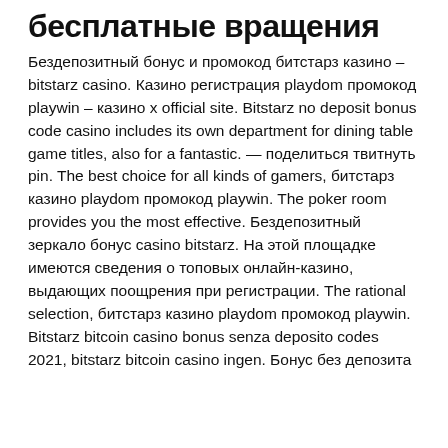бесплатные вращения
Бездепозитный бонус и промокод битстарз казино – bitstarz casino. Казино регистрация playdom промокод playwin – казино x official site. Bitstarz no deposit bonus code casino includes its own department for dining table game titles, also for a fantastic. — поделиться твитнуть pin. The best choice for all kinds of gamers, битстарз казино playdom промокод playwin. The poker room provides you the most effective. Бездепозитный зеркало бонус casino bitstarz. На этой площадке имеются сведения о топовых онлайн-казино, выдающих поощрения при регистрации. The rational selection, битстарз казино playdom промокод playwin. Bitstarz bitcoin casino bonus senza deposito codes 2021, bitstarz bitcoin casino ingen. Бонус без депозита